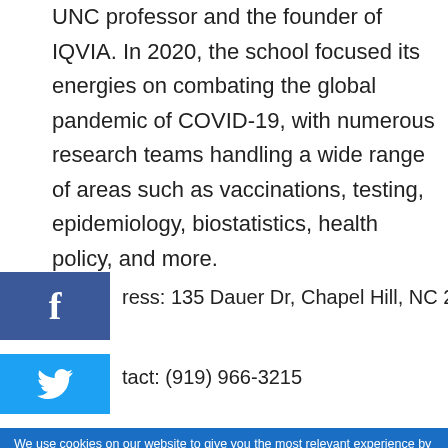UNC professor and the founder of IQVIA. In 2020, the school focused its energies on combating the global pandemic of COVID-19, with numerous research teams handling a wide range of areas such as vaccinations, testing, epidemiology, biostatistics, health policy, and more.
Address: 135 Dauer Dr, Chapel Hill, NC 27599
Contact: (919) 966-3215
We use cookies on our website to give you the most relevant experience by remembering your preferences and repeat visits. By clicking "Accept", you consent to the use of ALL the
Search for
1.  TOP 10 PUBLIC UNIVERSITIES
2.  GET YOUR GED ONLINE
Ad | Business Focus